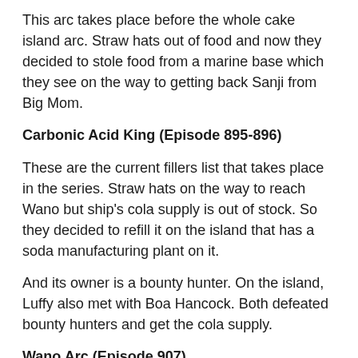This arc takes place before the whole cake island arc. Straw hats out of food and now they decided to stole food from a marine base which they see on the way to getting back Sanji from Big Mom.
Carbonic Acid King (Episode 895-896)
These are the current fillers list that takes place in the series. Straw hats on the way to reach Wano but ship's cola supply is out of stock. So they decided to refill it on the island that has a soda manufacturing plant on it.
And its owner is a bounty hunter. On the island, Luffy also met with Boa Hancock. Both defeated bounty hunters and get the cola supply.
Wano Arc (Episode 907)
This episode is the only current filler in the wano arc.